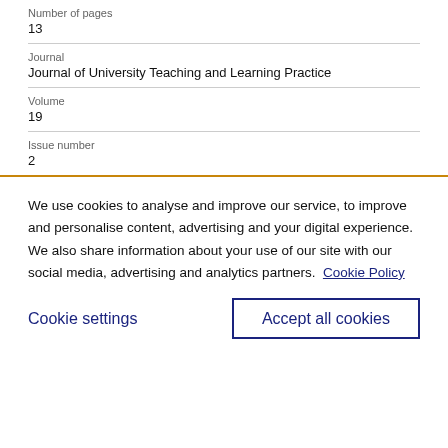Number of pages
13
Journal
Journal of University Teaching and Learning Practice
Volume
19
Issue number
2
We use cookies to analyse and improve our service, to improve and personalise content, advertising and your digital experience. We also share information about your use of our site with our social media, advertising and analytics partners.  Cookie Policy
Cookie settings
Accept all cookies